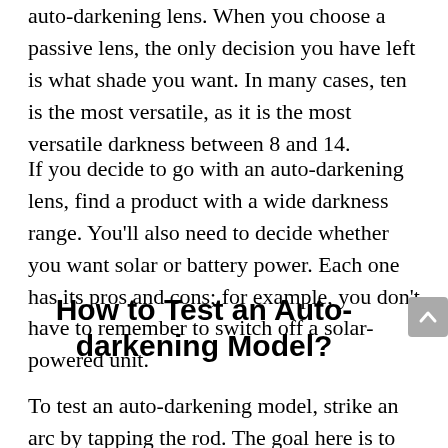auto-darkening lens. When you choose a passive lens, the only decision you have left is what shade you want. In many cases, ten is the most versatile, as it is the most versatile darkness between 8 and 14.
If you decide to go with an auto-darkening lens, find a product with a wide darkness range. You'll also need to decide whether you want solar or battery power. Each one has its pros and cons; for example, you don't have to remember to switch off a solar-powered unit.
How to Test an Auto-darkening Model?
To test an auto-darkening model, strike an arc by tapping the rod. The goal here is to make a spark. Even a 1/3,600 arc should be enough to darken the shield.